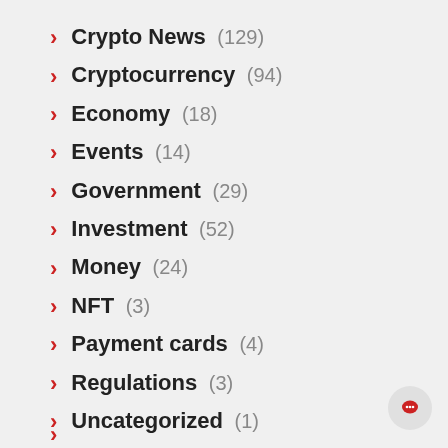Crypto News (129)
Cryptocurrency (94)
Economy (18)
Events (14)
Government (29)
Investment (52)
Money (24)
NFT (3)
Payment cards (4)
Regulations (3)
Uncategorized (1)